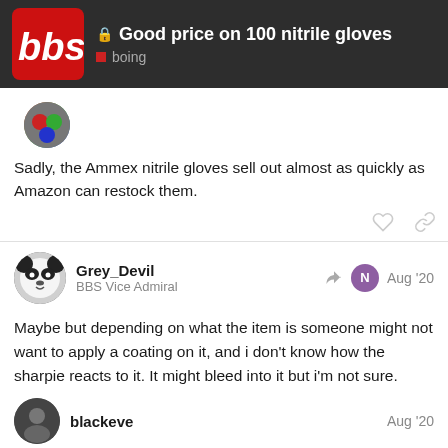Good price on 100 nitrile gloves — boing
Sadly, the Ammex nitrile gloves sell out almost as quickly as Amazon can restock them.
Grey_Devil
BBS Vice Admiral
Aug '20
Maybe but depending on what the item is someone might not want to apply a coating on it, and i don't know how the sharpie reacts to it. It might bleed into it but i'm not sure. Personally i wouldn't be keen to spray a coating onto most things i have that are signed
blackeve
Aug '20